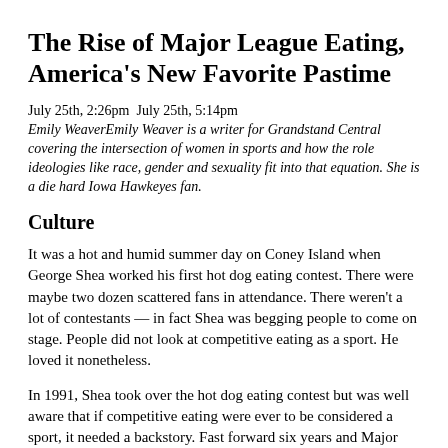The Rise of Major League Eating, America's New Favorite Pastime
July 25th, 2:26pm July 25th, 5:14pm
Emily WeaverEmily Weaver is a writer for Grandstand Central covering the intersection of women in sports and how the role ideologies like race, gender and sexuality fit into that equation. She is a die hard Iowa Hawkeyes fan.
Culture
It was a hot and humid summer day on Coney Island when George Shea worked his first hot dog eating contest. There were maybe two dozen scattered fans in attendance. There weren't a lot of contestants — in fact Shea was begging people to come on stage. People did not look at competitive eating as a sport. He loved it nonetheless.
In 1991, Shea took over the hot dog eating contest but was well aware that if competitive eating were ever to be considered a sport, it needed a backstory. Fast forward six years and Major League